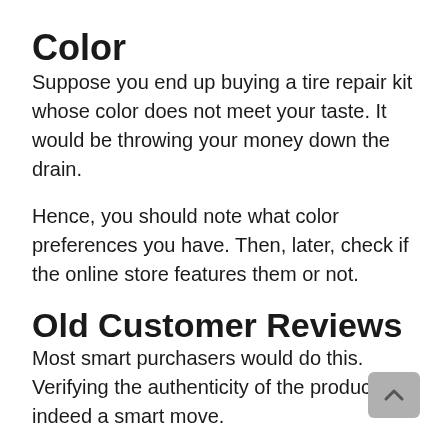Color
Suppose you end up buying a tire repair kit whose color does not meet your taste. It would be throwing your money down the drain.
Hence, you should note what color preferences you have. Then, later, check if the online store features them or not.
Old Customer Reviews
Most smart purchasers would do this. Verifying the authenticity of the product is indeed a smart move.